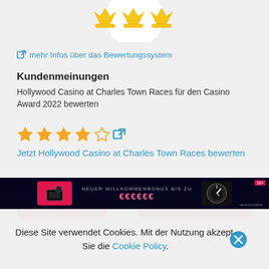[Figure (illustration): Crown/logo graphic with golden crowns at the top of the page]
↗ mehr Infos über das Bewertungssystem
Kundenmeinungen
Hollywood Casino at Charles Town Races für den Casino Award 2022 bewerten
[Figure (other): 4.5 star rating displayed with filled and half/empty star icons followed by external link text: Jetzt Hollywood Casino at Charles Town Races bewerten]
← Standorte
Weitere Infos, Map →
[Figure (screenshot): Dark banner advertisement: NEUER WILLKOMMENBONUS BIS ZU with colorful gaming imagery]
Diese Site verwendet Cookies. Mit der Nutzung akzept. Sie die Cookie Policy.